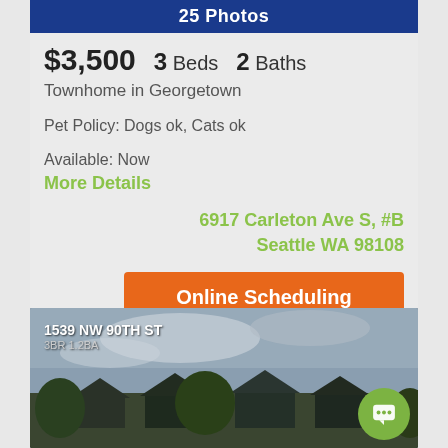25 Photos
$3,500   3 Beds   2 Baths
Townhome in Georgetown
Pet Policy: Dogs ok, Cats ok
Available: Now
More Details
6917 Carleton Ave S, #B
Seattle WA 98108
Online Scheduling
[Figure (photo): Exterior photo of property at 1539 NW 90TH ST, 3BR 1.2BA, showing residential houses against a cloudy sky with green trees]
1539 NW 90TH ST
3BR 1.2BA